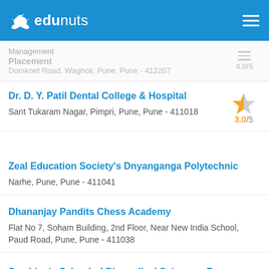edunuts
Management
Placement
Domknet Road, Wagholi, Pune, Pune - 412207
4.0/5
Dr. D. Y. Patil Dental College & Hospital
Sant Tukaram Nagar, Pimpri, Pune, Pune - 411018
3.0/5
Zeal Education Society's Dnyanganga Polytechnic
Narhe, Pune, Pune - 411041
Dhananjay Pandits Chess Academy
Flat No 7, Soham Building, 2nd Floor, Near New India School, Paud Road, Pune, Pune - 411038
Symbiosis School of Biomedical Sciences, Pune
Symbiosis Knowledge Village, Lavale, Mulshi, Pune, Pune - 412115